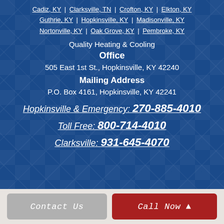Cadiz, KY | Clarksville, TN | Crofton, KY | Elkton, KY | Guthrie, KY | Hopkinsville, KY | Madisonville, KY | Nortonville, KY | Oak Grove, KY | Pembroke, KY
Quality Heating & Cooling
Office
505 East 1st St., Hopkinsville, KY 42240
Mailing Address
P.O. Box 4161, Hopkinsville, KY 42241
Hopkinsville & Emergency: 270-885-4010
Toll Free: 800-714-4010
Clarksville: 931-645-4070
Contact Us
Call Now